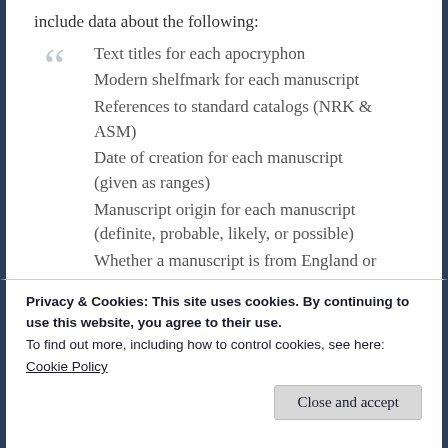include data about the following:
Text titles for each apocryphon
Modern shelfmark for each manuscript
References to standard catalogs (NRK & ASM)
Date of creation for each manuscript (given as ranges)
Manuscript origin for each manuscript (definite, probable, likely, or possible)
Whether a manuscript is from England or
Privacy & Cookies: This site uses cookies. By continuing to use this website, you agree to their use.
To find out more, including how to control cookies, see here:
Cookie Policy
Close and accept